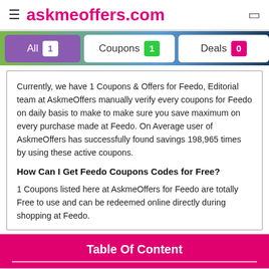≡ askmeoffers.com
All 1  Coupons 1  Deals 0
Currently, we have 1 Coupons & Offers for Feedo, Editorial team at AskmeOffers manually verify every coupons for Feedo on daily basis to make to make sure you save maximum on every purchase made at Feedo. On Average user of AskmeOffers has successfully found savings 198,965 times by using these active coupons.
How Can I Get Feedo Coupons Codes for Free?
1 Coupons listed here at AskmeOffers for Feedo are totally Free to use and can be redeemed online directly during shopping at Feedo.
Table Of Content